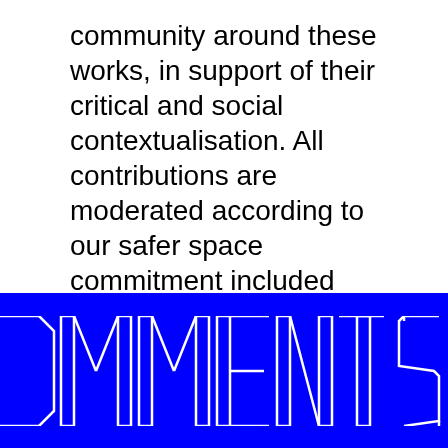community around these works, in support of their critical and social contextualisation. All contributions are moderated according to our safer space commitment included below.
This edition of the site has been an 'unflattening of the screen' with key elements of works by Rehana Zaman, Adam Farah and Lucy Clout happening outside the frame of the
[Figure (illustration): Large decorative text 'COMMENTS' in outlined geometric/modular lettering, white strokes on blue background]